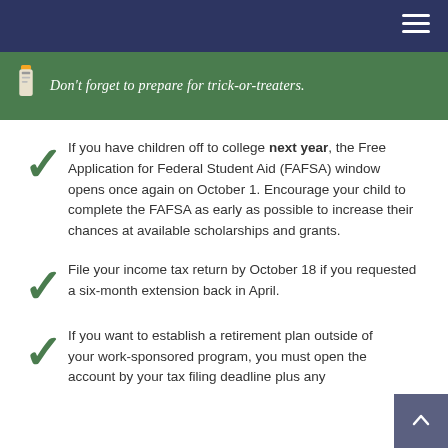[Figure (illustration): Green banner with italic white text reading: Don't forget to prepare for trick-or-treaters.]
If you have children off to college next year, the Free Application for Federal Student Aid (FAFSA) window opens once again on October 1. Encourage your child to complete the FAFSA as early as possible to increase their chances at available scholarships and grants.
File your income tax return by October 18 if you requested a six-month extension back in April.
If you want to establish a retirement plan outside of your work-sponsored program, you must open the account by your tax filing deadline plus any